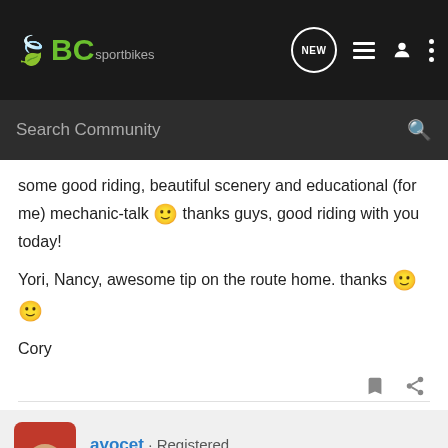BCsportbikes — Search Community
some good riding, beautiful scenery and educational (for me) mechanic-talk 🙂 thanks guys, good riding with you today!
Yori, Nancy, awesome tip on the route home. thanks 🙂 🙂
Cory
avocet · Registered
Joined Mar 1, 2004 · 2,224 Posts
#19 · Oc
[Figure (photo): Suzuki GSX-S1000 GT advertisement banner]